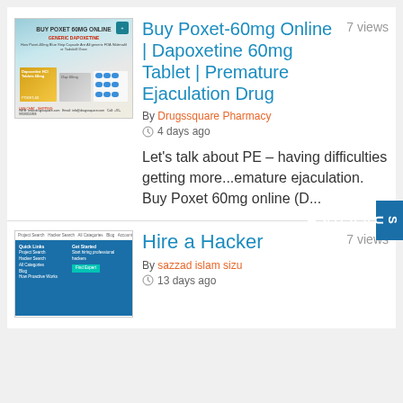[Figure (photo): Thumbnail image of Poxet-60mg medication box with blue pills and product packaging]
Buy Poxet-60mg Online | Dapoxetine 60mg Tablet | Premature Ejaculation Drug
7 views
By Drugssquare Pharmacy
4 days ago
Let's talk about PE – having difficulties getting more...emature ejaculation. Buy Poxet 60mg online (D...
[Figure (screenshot): Screenshot of Hire a Hacker website with blue navigation header, Quick Links and Get Started columns]
Hire a Hacker
7 views
By sazzad islam sizu
13 days ago